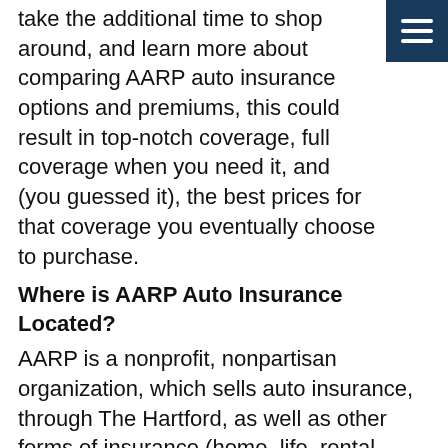take the additional time to shop around, and learn more about comparing AARP auto insurance options and premiums, this could result in top-notch coverage, full coverage when you need it, and (you guessed it), the best prices for that coverage you eventually choose to purchase.
Where is AARP Auto Insurance Located?
AARP is a nonprofit, nonpartisan organization, which sells auto insurance, through The Hartford, as well as other forms of insurance (home, life, rental, etc.) and is headquartered in Washington D.C.. The company places a major focus on its 50+ customer audience, and offers discounts to veterans as well. A focal goal of the insurance provider is to offer a better quality of life to the 50+ community, while offering the best coverage, affordable pricing, and insurance coverage which seniors can rely upon, in the event they ever have to file a claim.